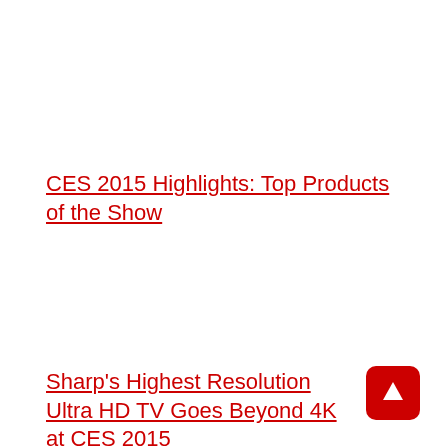CES 2015 Highlights: Top Products of the Show
Sharp's Highest Resolution Ultra HD TV Goes Beyond 4K at CES 2015